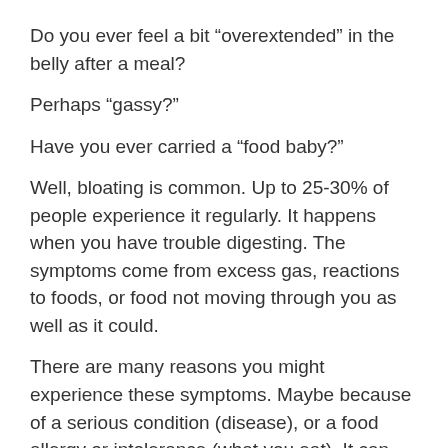Do you ever feel a bit “overextended” in the belly after a meal?
Perhaps “gassy?”
Have you ever carried a “food baby?”
Well, bloating is common. Up to 25-30% of people experience it regularly. It happens when you have trouble digesting. The symptoms come from excess gas, reactions to foods, or food not moving through you as well as it could.
There are many reasons you might experience these symptoms. Maybe because of a serious condition (disease), or a food allergy or intolerance (what you eat). It can also result from how you eat.
If you have a serious digestive issue like IBS